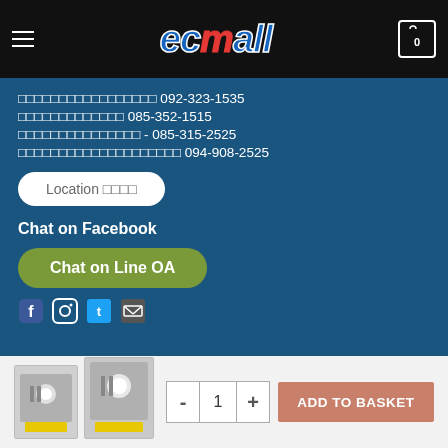[Figure (screenshot): EC Mall website header with hamburger menu, EC Mall logo in blue and red italic text, and shopping cart icon showing 0]
?????????????????? 092-323-1535
????????????? 085-352-1515
?????????????? - 085-315-2525
??????????????????? 094-908-2525
Location ????
Chat on Facebook
Chat on Line OA
[Figure (screenshot): Social media icons at bottom of blue section]
[Figure (photo): Two product thumbnail images of lighting/bulb products]
- 1 +
ADD TO BASKET